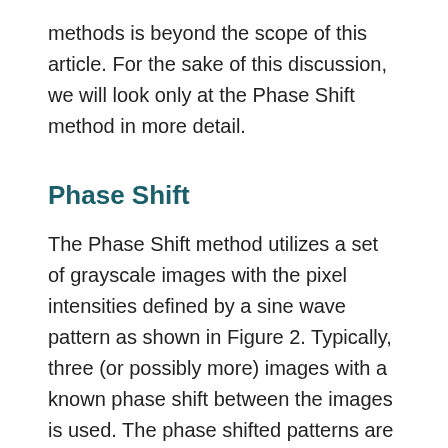methods is beyond the scope of this article. For the sake of this discussion, we will look only at the Phase Shift method in more detail.
Phase Shift
The Phase Shift method utilizes a set of grayscale images with the pixel intensities defined by a sine wave pattern as shown in Figure 2. Typically, three (or possibly more) images with a known phase shift between the images is used. The phase shifted patterns are projected sequentially onto the object, and after a phase unwrapping operation, the resulting difference images are compared with a reference plane to extract the surface features of the original object.